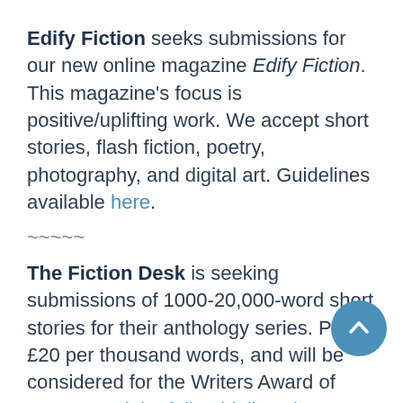Edify Fiction seeks submissions for our new online magazine Edify Fiction. This magazine's focus is positive/uplifting work. We accept short stories, flash fiction, poetry, photography, and digital art. Guidelines available here.
~~~~~
The Fiction Desk is seeking submissions of 1000-20,000-word short stories for their anthology series. Pay is £20 per thousand words, and will be considered for the Writers Award of £100. Read the full guidelines here.
~~~~~